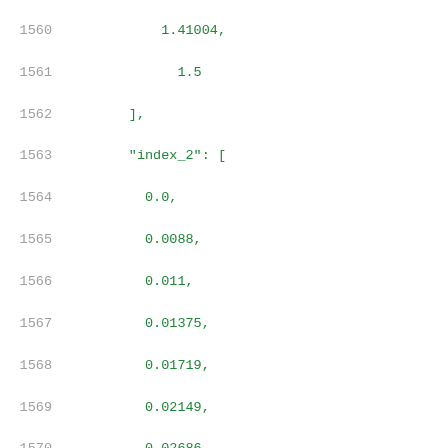Code listing showing lines 1560-1581 of JSON data with numeric arrays index_2 and values
1560: 1.41004,
1561:     1.5
1562: ],
1563: "index_2": [
1564:     0.0,
1565:     0.0088,
1566:     0.011,
1567:     0.01375,
1568:     0.01719,
1569:     0.02149,
1570:     0.02686,
1571:     0.03357,
1572:     0.04196,
1573:     0.05245,
1574:     0.06556,
1575:     0.08195,
1576:     0.10244,
1577:     0.12805,
1578:     0.16006,
1579:     0.20007
1580: ],
1581: "values": [